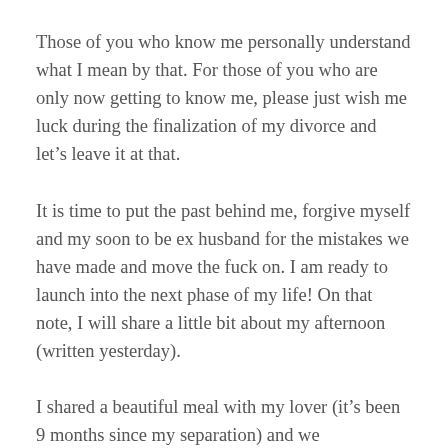Those of you who know me personally understand what I mean by that. For those of you who are only now getting to know me, please just wish me luck during the finalization of my divorce and let's leave it at that.
It is time to put the past behind me, forgive myself and my soon to be ex husband for the mistakes we have made and move the fuck on. I am ready to launch into the next phase of my life! On that note, I will share a little bit about my afternoon (written yesterday).
I shared a beautiful meal with my lover (it's been 9 months since my separation) and we